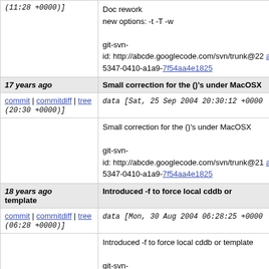(11:28 +0000)]
Doc rework
new options: -t -T -w

git-svn-id: http://abcde.googlecode.com/svn/trunk@22 a05347-0410-a1a9-7f54aa4e1825
17 years ago | Small correction for the ()'s under MacOSX
commit | commitdiff | tree
data [Sat, 25 Sep 2004 20:30:12 +0000 (20:30 +0000)]
Small correction for the ()'s under MacOSX

git-svn-id: http://abcde.googlecode.com/svn/trunk@21 a05347-0410-a1a9-7f54aa4e1825
18 years ago
template | Introduced -f to force local cddb or
commit | commitdiff | tree
data [Mon, 30 Aug 2004 06:28:25 +0000 (06:28 +0000)]
Introduced -f to force local cddb or template

git-svn-